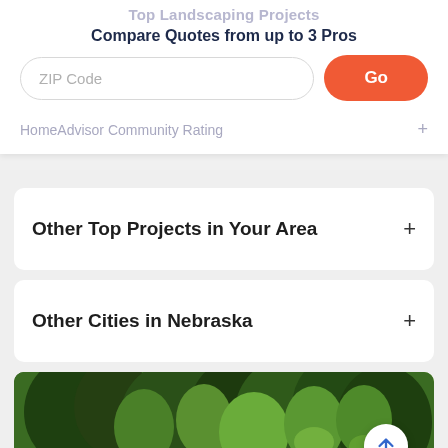Top Landscaping Projects
Compare Quotes from up to 3 Pros
[Figure (screenshot): ZIP Code input field with placeholder text 'ZIP Code' and orange 'Go' button]
HomeAdvisor Community Rating  +
Other Top Projects in Your Area  +
Other Cities in Nebraska  +
[Figure (photo): Outdoor landscaping photo showing green trees and shrubs with red flowers in a garden setting, with a back-to-top arrow button overlay]